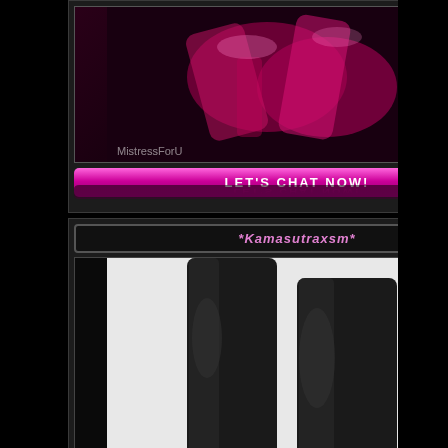[Figure (photo): Partial view of first profile card showing dark pink/red high heels, watermark 'MistressForU', with pink 'LET'S CHAT NOW!' button below]
[Figure (photo): Profile card for *Kamasutraxsm* showing black leather boots/legs photo, watermark 'kamasutraxsm', with pink 'LET'S CHAT NOW!' button below]
[Figure (photo): Profile card for *Cannes* with black placeholder photo area]